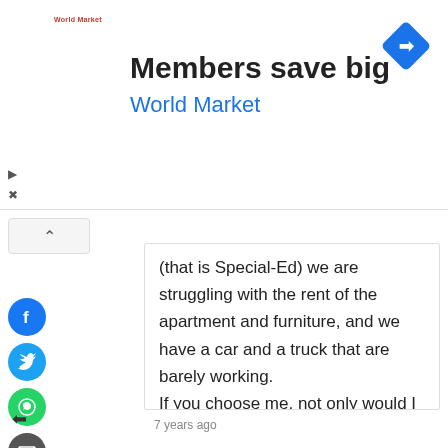[Figure (screenshot): Advertisement banner for World Market with text 'Members save big' and 'World Market' in blue, with a blue diamond navigation icon on the right and small World Market logo on the left.]
(that is Special-Ed) we are struggling with the rent of the apartment and furniture, and we have a car and a truck that are barely working.
If you choose me, not only would I be really happy and cry out of joy, you would make the greatest choice.
Hope to hear from you soon.
7 years ago